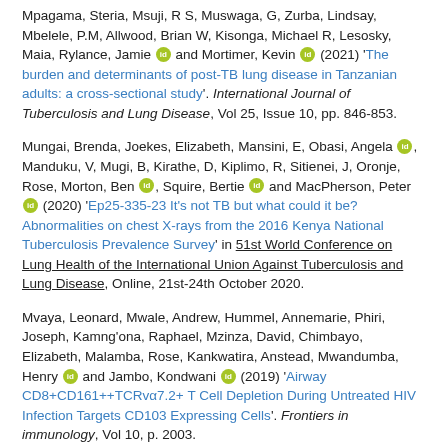Mpagama, Steria, Msuji, R S, Muswaga, G, Zurba, Lindsay, Mbelele, P.M, Allwood, Brian W, Kisonga, Michael R, Lesosky, Maia, Rylance, Jamie [orcid] and Mortimer, Kevin [orcid] (2021) 'The burden and determinants of post-TB lung disease in Tanzanian adults: a cross-sectional study'. International Journal of Tuberculosis and Lung Disease, Vol 25, Issue 10, pp. 846-853.
Mungai, Brenda, Joekes, Elizabeth, Mansini, E, Obasi, Angela [orcid], Manduku, V, Mugi, B, Kirathe, D, Kiplimo, R, Sitienei, J, Oronje, Rose, Morton, Ben [orcid], Squire, Bertie [orcid] and MacPherson, Peter [orcid] (2020) 'Ep25-335-23 It's not TB but what could it be? Abnormalities on chest X-rays from the 2016 Kenya National Tuberculosis Prevalence Survey' in 51st World Conference on Lung Health of the International Union Against Tuberculosis and Lung Disease, Online, 21st-24th October 2020.
Mvaya, Leonard, Mwale, Andrew, Hummel, Annemarie, Phiri, Joseph, Kamng'ona, Raphael, Mzinza, David, Chimbayo, Elizabeth, Malamba, Rose, Kankwatira, Anstead, Mwandumba, Henry [orcid] and Jambo, Kondwani [orcid] (2019) 'Airway CD8+CD161++TCRvα7.2+ T Cell Depletion During Untreated HIV Infection Targets CD103 Expressing Cells'. Frontiers in immunology, Vol 10, p. 2003.